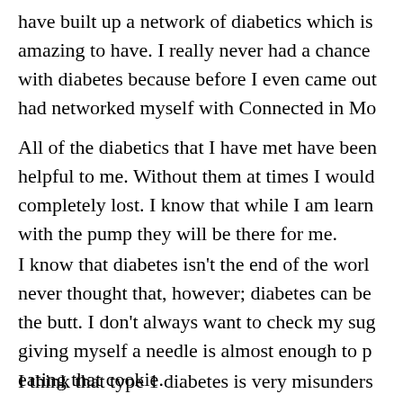have built up a network of diabetics which is amazing to have. I really never had a chance with diabetes because before I even came out had networked myself with Connected in Mo
All of the diabetics that I have met have been helpful to me. Without them at times I would completely lost. I know that while I am learn with the pump they will be there for me.
I know that diabetes isn't the end of the worl never thought that, however; diabetes can be the butt. I don't always want to check my sug giving myself a needle is almost enough to p eating that cookie.
I think that type 1 diabetes is very misunders matters is that diabetics everywhere are conn